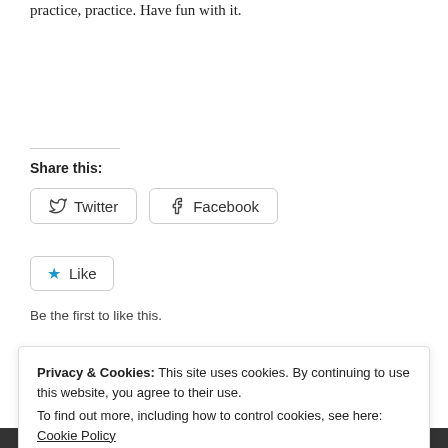practice, practice. Have fun with it.
Share this:
[Figure (other): Twitter and Facebook share buttons, and a Like button with star icon]
Be the first to like this.
Privacy & Cookies: This site uses cookies. By continuing to use this website, you agree to their use. To find out more, including how to control cookies, see here: Cookie Policy
Close and accept